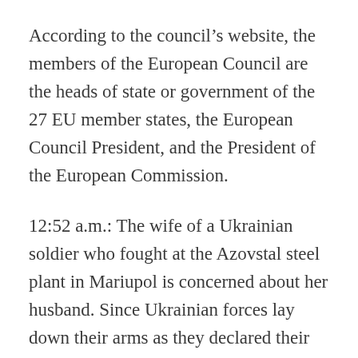According to the council's website, the members of the European Council are the heads of state or government of the 27 EU member states, the European Council President, and the President of the European Commission.
12:52 a.m.: The wife of a Ukrainian soldier who fought at the Azovstal steel plant in Mariupol is concerned about her husband. Since Ukrainian forces lay down their arms as they declared their mission at the plant over, she has not heard what happened to him, CNN reports.